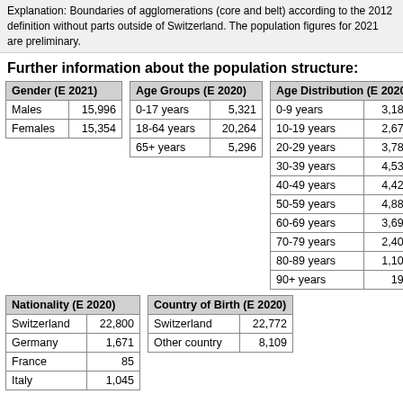Explanation: Boundaries of agglomerations (core and belt) according to the 2012 definition without parts outside of Switzerland. The population figures for 2021 are preliminary.
Further information about the population structure:
| Gender (E 2021) |  |
| --- | --- |
| Males | 15,996 |
| Females | 15,354 |
| Age Groups (E 2020) |  |
| --- | --- |
| 0-17 years | 5,321 |
| 18-64 years | 20,264 |
| 65+ years | 5,296 |
| Age Distribution (E 2020) |  |
| --- | --- |
| 0-9 years | 3,180 |
| 10-19 years | 2,675 |
| 20-29 years | 3,786 |
| 30-39 years | 4,532 |
| 40-49 years | 4,425 |
| 50-59 years | 4,880 |
| 60-69 years | 3,697 |
| 70-79 years | 2,403 |
| 80-89 years | 1,107 |
| 90+ years | 196 |
| Nationality (E 2020) |  |
| --- | --- |
| Switzerland | 22,800 |
| Germany | 1,671 |
| France | 85 |
| Italy | 1,045 |
| Country of Birth (E 2020) |  |
| --- | --- |
| Switzerland | 22,772 |
| Other country | 8,109 |